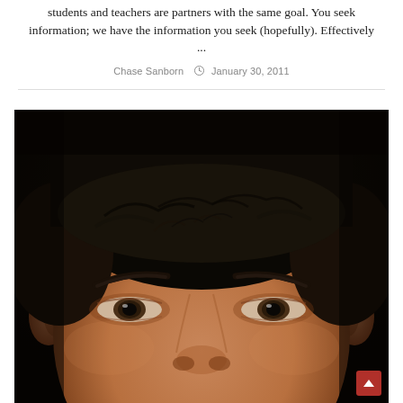students and teachers are partners with the same goal. You seek information; we have the information you seek (hopefully). Effectively ...
Chase Sanborn  January 30, 2011
[Figure (photo): Close-up photo of a man's face with dark short curly hair, tan skin, and dark eyes, against a very dark background.]